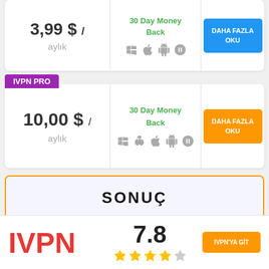aylık
30 Day Money Back
DAHA FAZLA OKU
IVPN PRO
10,00 $ / aylık
30 Day Money Back
DAHA FAZLA OKU
SONUÇ
7.8
IVPN'YA GİT